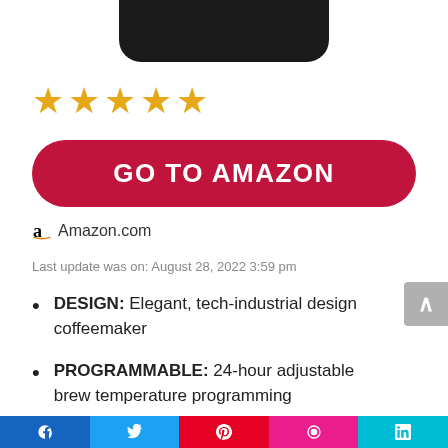[Figure (photo): Bottom portion of a black coffeemaker product image, cropped at top]
[Figure (other): Five orange/gold star rating icons]
[Figure (other): Red rounded-rectangle button with white bold text 'GO TO AMAZON']
Amazon.com
Last update was on: August 28, 2022 3:59 pm
DESIGN: Elegant, tech-industrial design coffeemaker
PROGRAMMABLE: 24-hour adjustable brew temperature programming
CONVENIENT: Dripless carafe snout and Brew